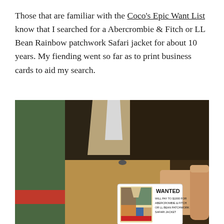Those that are familiar with the Coco's Epic Want List know that I searched for a Abercrombie & Fitch or LL Bean Rainbow patchwork Safari jacket for about 10 years. My fiending went so far as to print business cards to aid my search.
[Figure (photo): Close-up photo of a person wearing a multi-colored patchwork safari jacket with panels of green, dark brown/black, khaki/tan, and camel/tan colors. A hand is holding up a small business card that reads 'WANTED WILL PAY TO $1000 FOR ABERCROMBIE & FITCH OR LL BEAN PATCHWORK SAFARI JACKET' with an image of the jacket on the card.]